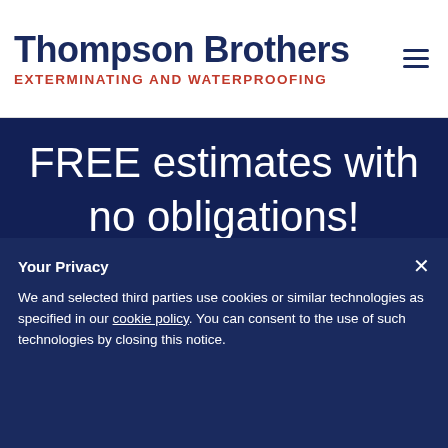Thompson Brothers EXTERMINATING AND WATERPROOFING
FREE estimates with no obligations! Outstanding personal service, quality, integrity, and guaranteed
Your Privacy
We and selected third parties use cookies or similar technologies as specified in our cookie policy. You can consent to the use of such technologies by closing this notice.